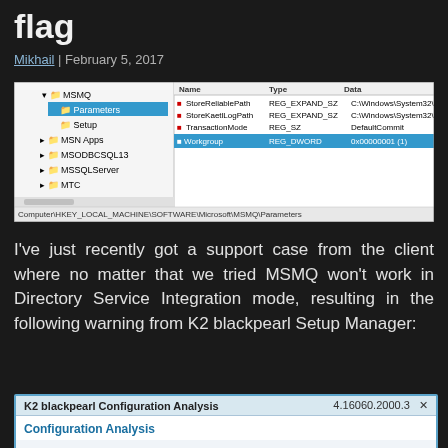flag
Mikhail | February 5, 2017
[Figure (screenshot): Windows Registry Editor showing HKEY_LOCAL_MACHINE\SOFTWARE\Microsoft\MSMQ\Parameters with Workgroup REG_DWORD value 0x00000001 (1) highlighted in blue]
I've just recently got a support case from the client where no matter that we tried MSMQ won't work in Directory Service Integration mode, resulting in the following warning from K2 blackpearl Setup Manager:
[Figure (screenshot): K2 blackpearl Configuration Analysis dialog showing version 4.16060.2000.3 with Configuration Analysis section header]